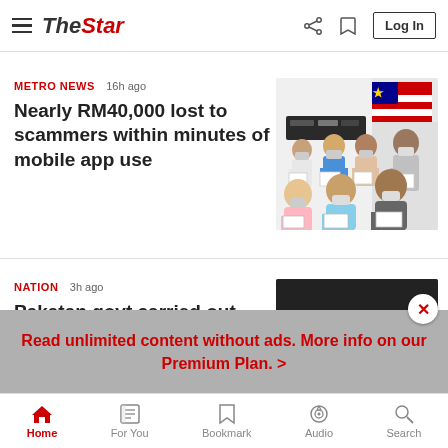The Star - Log In
METRO NEWS  16h ago
Nearly RM40,000 lost to scammers within minutes of mobile app use
[Figure (photo): Group of people wearing face masks holding documents, Malaysian flag in background]
NATION  3h ago
Pakatan govt carried out selective prosecution, says Zahid
[Figure (photo): Man in suit wearing white face mask, grey hair, looking down]
Read unlimited content without ads. More info on our Premium Plan. >
Home   For You   Bookmark   Audio   Search